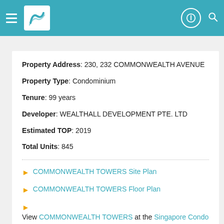COMMONWEALTH TOWERS property details
Property Address: 230, 232 COMMONWEALTH AVENUE
Property Type: Condominium
Tenure: 99 years
Developer: WEALTHALL DEVELOPMENT PTE. LTD
Estimated TOP: 2019
Total Units: 845
COMMONWEALTH TOWERS Site Plan
COMMONWEALTH TOWERS Floor Plan
View COMMONWEALTH TOWERS at the Singapore Condo Directory